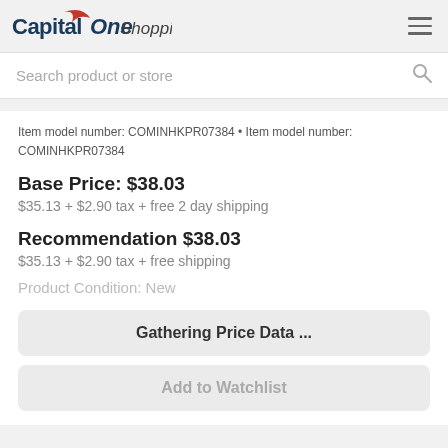Capital One Shopping
Search product or store
Item model number: COMINHKPR07384  •  Item model number: COMINHKPR07384
Base Price: $38.03
$35.13 + $2.90 tax + free 2 day shipping
Recommendation $38.03
$35.13 + $2.90 tax + free shipping
Product Condition: New
Gathering Price Data ...
Add to Watchlist